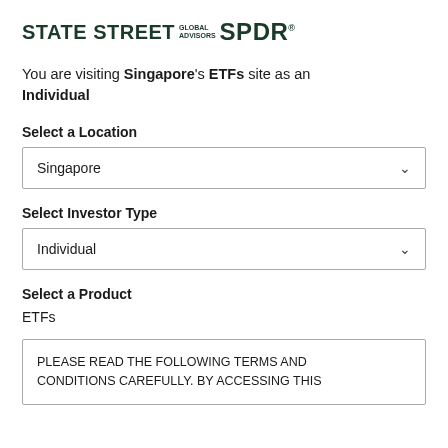[Figure (logo): State Street Global Advisors SPDR logo]
You are visiting Singapore's ETFs site as an Individual
Select a Location
Singapore
Select Investor Type
Individual
Select a Product
ETFs
PLEASE READ THE FOLLOWING TERMS AND CONDITIONS CAREFULLY. BY ACCESSING THIS